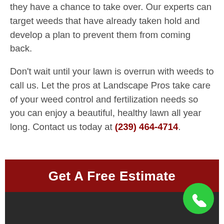they have a chance to take over. Our experts can target weeds that have already taken hold and develop a plan to prevent them from coming back.
Don't wait until your lawn is overrun with weeds to call us. Let the pros at Landscape Pros take care of your weed control and fertilization needs so you can enjoy a beautiful, healthy lawn all year long. Contact us today at (239) 464-4714.
Get A Free Estimate